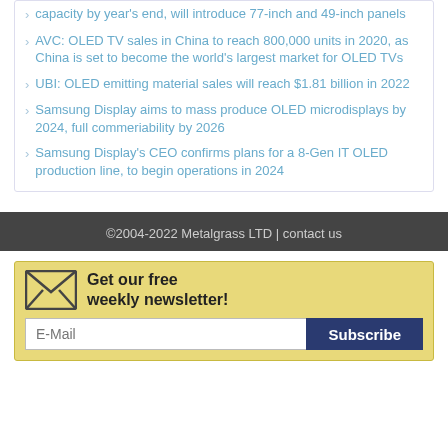capacity by year's end, will introduce 77-inch and 49-inch panels
AVC: OLED TV sales in China to reach 800,000 units in 2020, as China is set to become the world's largest market for OLED TVs
UBI: OLED emitting material sales will reach $1.81 billion in 2022
Samsung Display aims to mass produce OLED microdisplays by 2024, full commeriability by 2026
Samsung Display's CEO confirms plans for a 8-Gen IT OLED production line, to begin operations in 2024
©2004-2022 Metalgrass LTD | contact us
Get our free weekly newsletter!